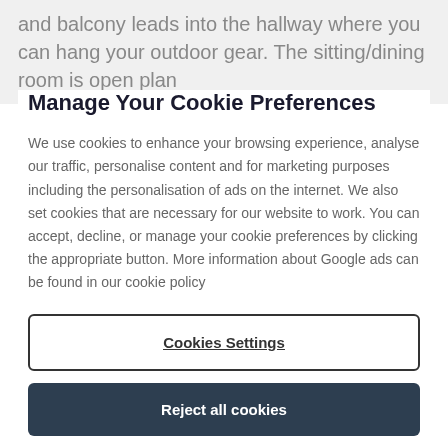and balcony leads into the hallway where you can hang your outdoor gear. The sitting/dining room is open plan
Manage Your Cookie Preferences
We use cookies to enhance your browsing experience, analyse our traffic, personalise content and for marketing purposes including the personalisation of ads on the internet. We also set cookies that are necessary for our website to work. You can accept, decline, or manage your cookie preferences by clicking the appropriate button. More information about Google ads can be found in our cookie policy
Cookies Settings
Reject all cookies
Accept all cookies